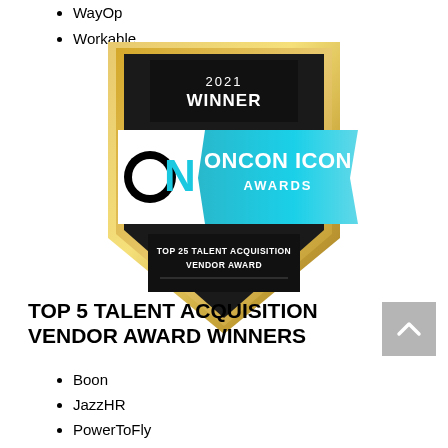WayOp
Workable
[Figure (logo): OnCon Icon Awards 2021 Winner badge — gold shield shape with black panels, cyan ribbon banner reading ONCON ICON AWARDS, text TOP 25 TALENT ACQUISITION VENDOR AWARD]
TOP 5 TALENT ACQUISITION VENDOR AWARD WINNERS
Boon
JazzHR
PowerToFly
Recruitics